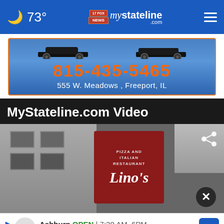73° mystateline.com
[Figure (photo): Advertisement banner for auto dealer at 555 W. Meadows, Freeport, IL with phone number 815-435-5465 and cars in background]
MyStateline.com Video
[Figure (screenshot): Video thumbnail showing Lino's Pizza and Italian Restaurant exterior sign and building]
[Figure (infographic): Bottom advertisement: Tire Auto Ashburn OPEN 7:30 AM–6PM 43781 Parkhurst Plaza, Ashburn]